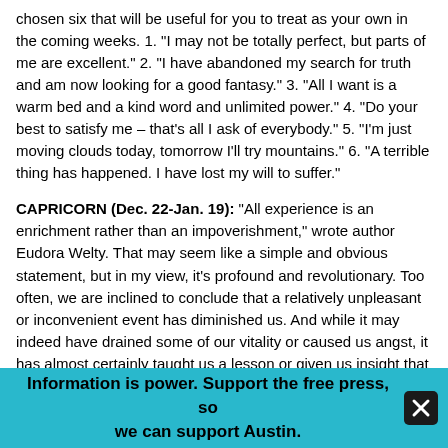chosen six that will be useful for you to treat as your own in the coming weeks. 1. "I may not be totally perfect, but parts of me are excellent." 2. "I have abandoned my search for truth and am now looking for a good fantasy." 3. "All I want is a warm bed and a kind word and unlimited power." 4. "Do your best to satisfy me – that's all I ask of everybody." 5. "I'm just moving clouds today, tomorrow I'll try mountains." 6. "A terrible thing has happened. I have lost my will to suffer."
CAPRICORN (Dec. 22-Jan. 19): "All experience is an enrichment rather than an impoverishment," wrote author Eudora Welty. That may seem like a simple and obvious statement, but in my view, it's profound and revolutionary. Too often, we are inclined to conclude that a relatively unpleasant or inconvenient event has diminished us. And while it may indeed have drained some of our vitality or caused us angst, it has almost certainly taught us a lesson or given us insight that will serve us well in the long run – if only to help us avoid similar downers in the future. According to my analysis of your current astrological omens, these thoughts are of prime importance for you right now.
Information is power. Support the free press, so we can support Austin.